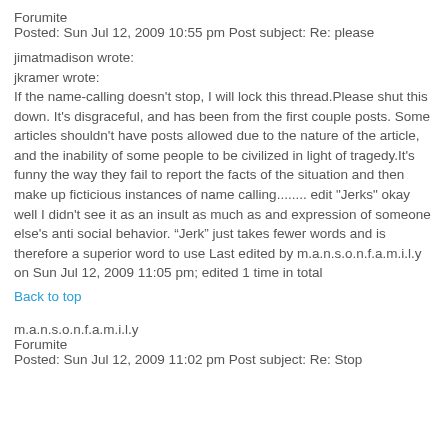Forumite
Posted: Sun Jul 12, 2009 10:55 pm Post subject: Re: please
jimatmadison wrote:
jkramer wrote:
If the name-calling doesn't stop, I will lock this thread.Please shut this down. It's disgraceful, and has been from the first couple posts. Some articles shouldn't have posts allowed due to the nature of the article, and the inability of some people to be civilized in light of tragedy.It's funny the way they fail to report the facts of the situation and then make up ficticious instances of name calling........ edit "Jerks" okay well I didn't see it as an insult as much as and expression of someone else's anti social behavior. “Jerk” just takes fewer words and is therefore a superior word to use Last edited by m.a.n.s.o.n.f.a.m.i.l.y on Sun Jul 12, 2009 11:05 pm; edited 1 time in total
Back to top
m.a.n.s.o.n.f.a.m.i.l.y
Forumite
Posted: Sun Jul 12, 2009 11:02 pm Post subject: Re: Stop